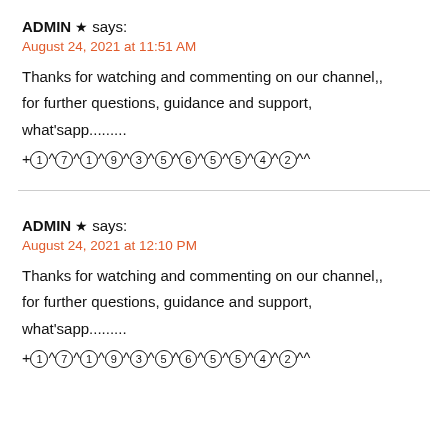ADMIN ★ says:
August 24, 2021 at 11:51 AM
Thanks for watching and commenting on our channel,, for further questions, guidance and support, what'sapp......... +①^⑦^①^⑨^③^⑤^⑥^⑤^⑤^④^②^^
ADMIN ★ says:
August 24, 2021 at 12:10 PM
Thanks for watching and commenting on our channel,, for further questions, guidance and support, what'sapp......... +①^⑦^①^⑨^③^⑤^⑥^⑤^⑤^④^②^^